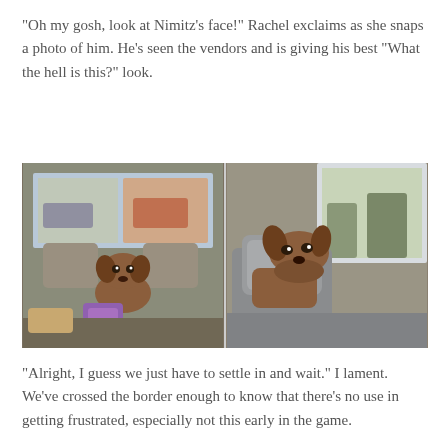“Oh my gosh, look at Nimitz’s face!” Rachel exclaims as she snaps a photo of him. He’s seen the vendors and is giving his best “What the hell is this?” look.
[Figure (photo): Two side-by-side photos of a brown dog (Nimitz) in the back seat of a car. Left photo shows a wide shot of the back seat with the dog peering over the seat, a purple bag visible, and a parking lot through the rear window. Right photo is a closer shot of the dog resting its chin on a gray car headrest, looking sideways with a skeptical expression.]
“Alright, I guess we just have to settle in and wait.” I lament. We’ve crossed the border enough to know that there’s no use in getting frustrated, especially not this early in the game.